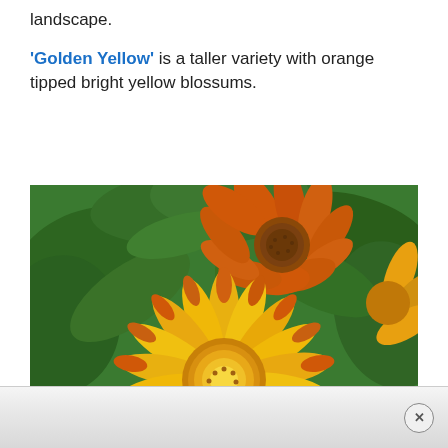landscape. 'Golden Yellow' is a taller variety with orange tipped bright yellow blossums.
[Figure (photo): Close-up photograph of bright yellow and orange calendula/pot marigold blossoms with green foliage in the background. The foreground features a large golden-yellow flower with orange-tipped petals and a yellow center, while an orange flower is visible in the upper portion.]